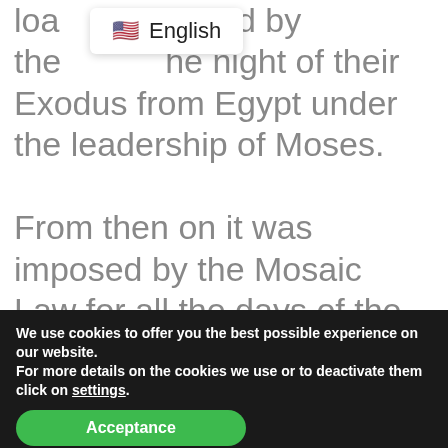loa[d] used by the [bread t]he night of their Exodus from Egypt under the leadership of Moses.
From then on it was imposed by the Mosaic Law for all the days of the Passover feast, until Christ at the last Passover blessed the enzyme
We use cookies to offer you the best possible experience on our website.
For more details on the cookies we use or to deactivate them click on settings.
Acceptance